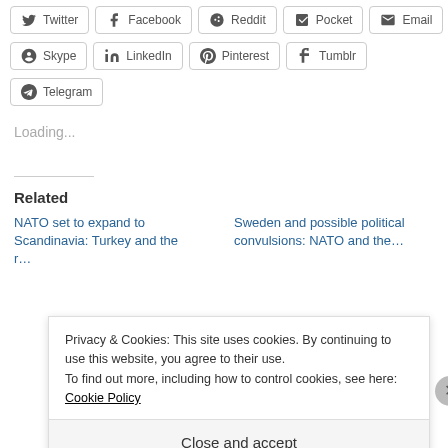[Figure (screenshot): Social media sharing buttons row 1: Twitter, Facebook, Reddit, Pocket, Email]
[Figure (screenshot): Social media sharing buttons row 2: Skype, LinkedIn, Pinterest, Tumblr]
[Figure (screenshot): Social media sharing button: Telegram]
Loading...
Related
NATO set to expand to Scandinavia: Turkey and the r...
Sweden and possible political convulsions: NATO and the...
Privacy & Cookies: This site uses cookies. By continuing to use this website, you agree to their use. To find out more, including how to control cookies, see here: Cookie Policy
Close and accept